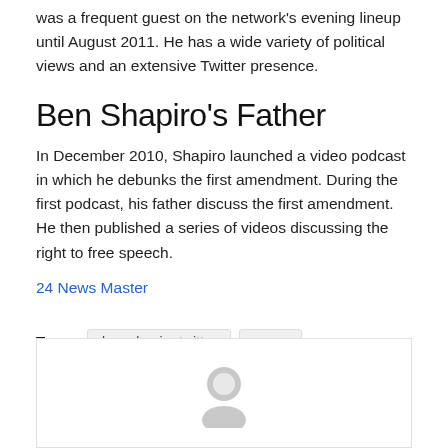was a frequent guest on the network's evening lineup until August 2011. He has a wide variety of political views and an extensive Twitter presence.
Ben Shapiro's Father
In December 2010, Shapiro launched a video podcast in which he debunks the first amendment. During the first podcast, his father discuss the first amendment. He then published a series of videos discussing the right to free speech.
24 News Master
Tags:  ben shapiro twitter   news
[Figure (illustration): Avatar/profile icon placeholder — a gray circular silhouette of a person on a white background inside a bordered box]